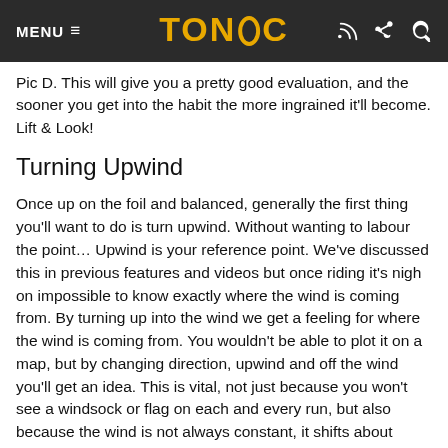MENU ≡  TONiC
Pic D. This will give you a pretty good evaluation, and the sooner you get into the habit the more ingrained it'll become. Lift & Look!
Turning Upwind
Once up on the foil and balanced, generally the first thing you'll want to do is turn upwind. Without wanting to labour the point… Upwind is your reference point. We've discussed this in previous features and videos but once riding it's nigh on impossible to know exactly where the wind is coming from. By turning up into the wind we get a feeling for where the wind is coming from. You wouldn't be able to plot it on a map, but by changing direction, upwind and off the wind you'll get an idea. This is vital, not just because you won't see a windsock or flag on each and every run, but also because the wind is not always constant, it shifts about